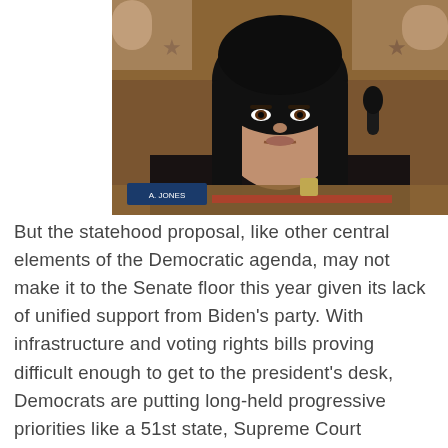[Figure (photo): A woman with long black hair seated at a congressional hearing desk, wearing a dark jacket. Wooden paneling and star decorations visible in the background. A name placard is partially visible at the bottom left.]
But the statehood proposal, like other central elements of the Democratic agenda, may not make it to the Senate floor this year given its lack of unified support from Biden's party. With infrastructure and voting rights bills proving difficult enough to get to the president's desk, Democrats are putting long-held progressive priorities like a 51st state, Supreme Court expansion and a $15 minimum wage on the proverbial back burner while they focus on what's actually achievable.